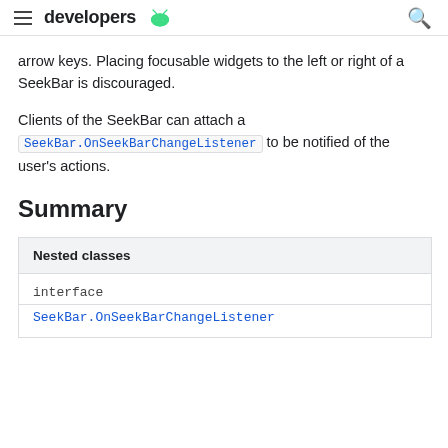developers
arrow keys. Placing focusable widgets to the left or right of a SeekBar is discouraged.
Clients of the SeekBar can attach a SeekBar.OnSeekBarChangeListener to be notified of the user's actions.
Summary
| Nested classes |
| --- |
| interface | SeekBar.OnSeekBarChangeListener |